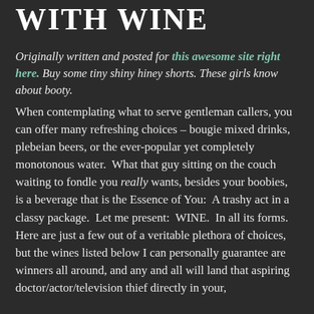WITH WINE
Originally written and posted for this awesome site right here.  Buy some tiny shiny hiney shorts.  These girls know about booty. When contemplating what to serve gentleman callers, you can offer many refreshing choices – bougie mixed drinks, plebeian beers, or the ever-popular yet completely monotonous water.  What that guy sitting on the couch waiting to fondle you really wants, besides your boobies, is a beverage that is the Essence of You:  A trashy act in a classy package.  Let me present:  WINE.  In all its forms.  Here are just a few out of a veritable plethora of choices, but the wines listed below I can personally guarantee are winners all around, and any and all will land that aspiring doctor/actor/television thief directly in your,